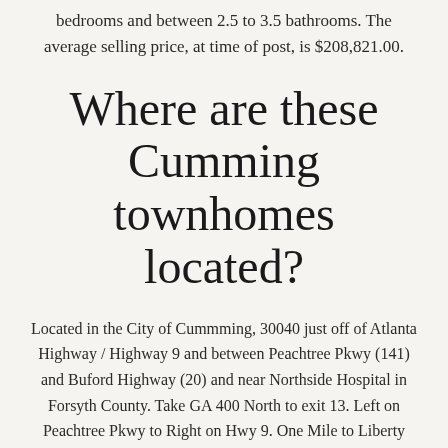bedrooms and between 2.5 to 3.5 bathrooms. The average selling price, at time of post, is $208,821.00.
Where are these Cumming townhomes located?
Located in the City of Cummming, 30040 just off of Atlanta Highway / Highway 9 and between Peachtree Pkwy (141) and Buford Highway (20) and near Northside Hospital in Forsyth County. Take GA 400 North to exit 13. Left on Peachtree Pkwy to Right on Hwy 9. One Mile to Liberty Subdivision on Left. Left at Clubhouse.